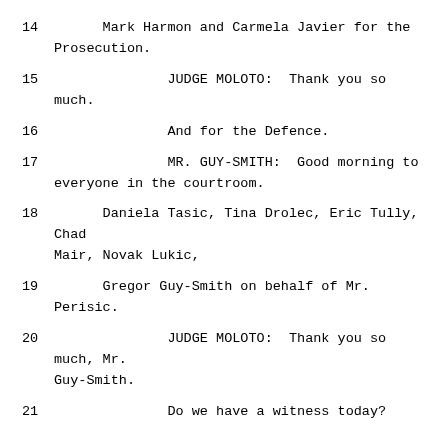14      Mark Harmon and Carmela Javier for the Prosecution.
15              JUDGE MOLOTO:  Thank you so much.
16              And for the Defence.
17              MR. GUY-SMITH:  Good morning to everyone in the courtroom.
18      Daniela Tasic, Tina Drolec, Eric Tully, Chad Mair, Novak Lukic,
19      Gregor Guy-Smith on behalf of Mr. Perisic.
20              JUDGE MOLOTO:  Thank you so much, Mr. Guy-Smith.
21              Do we have a witness today?